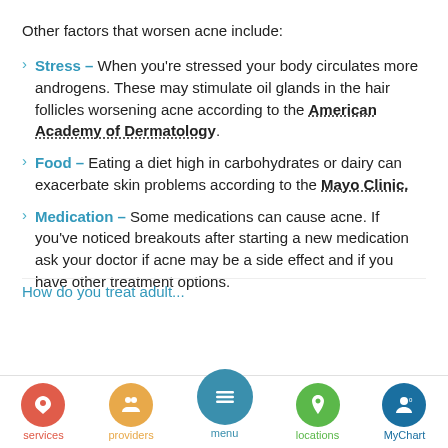Other factors that worsen acne include:
Stress – When you're stressed your body circulates more androgens. These may stimulate oil glands in the hair follicles worsening acne according to the American Academy of Dermatology.
Food – Eating a diet high in carbohydrates or dairy can exacerbate skin problems according to the Mayo Clinic.
Medication – Some medications can cause acne. If you've noticed breakouts after starting a new medication ask your doctor if acne may be a side effect and if you have other treatment options.
How do you treat adult...
services | providers | menu | locations | MyChart